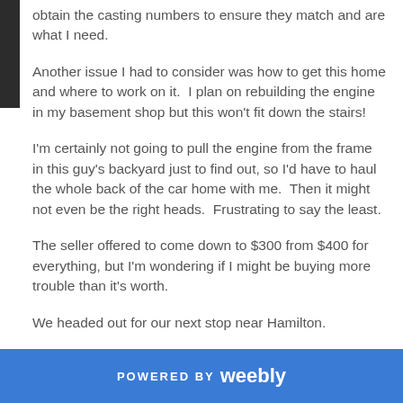obtain the casting numbers to ensure they match and are what I need.
Another issue I had to consider was how to get this home and where to work on it.  I plan on rebuilding the engine in my basement shop but this won't fit down the stairs!
I'm certainly not going to pull the engine from the frame in this guy's backyard just to find out, so I'd have to haul the whole back of the car home with me.  Then it might not even be the right heads.  Frustrating to say the least.
The seller offered to come down to $300 from $400 for everything, but I'm wondering if I might be buying more trouble than it's worth.
We headed out for our next stop near Hamilton.
This gentleman and I have been communicating by e-mail
POWERED BY weebly